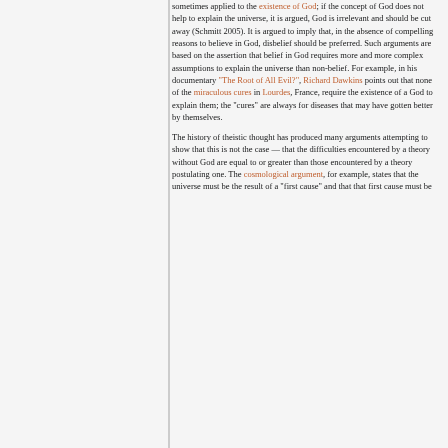sometimes applied to the existence of God; if the concept of God does not help to explain the universe, it is argued, God is irrelevant and should be cut away (Schmitt 2005). It is argued to imply that, in the absence of compelling reasons to believe in God, disbelief should be preferred. Such arguments are based on the assertion that belief in God requires more and more complex assumptions to explain the universe than non-belief. For example, in his documentary "The Root of All Evil?", Richard Dawkins points out that none of the miraculous cures in Lourdes, France, require the existence of a God to explain them; the "cures" are always for diseases that may have gotten better by themselves.
The history of theistic thought has produced many arguments attempting to show that this is not the case — that the difficulties encountered by a theory without God are equal to or greater than those encountered by a theory postulating one. The cosmological argument, for example, states that the universe must be the result of a "first cause" and that that first cause must be